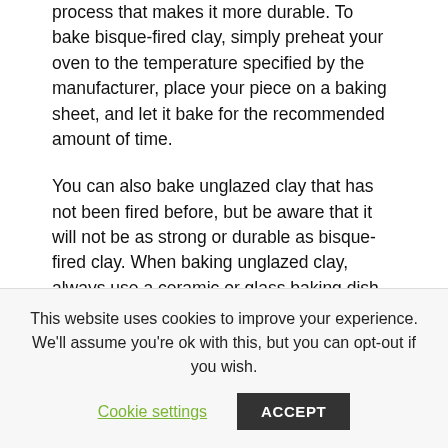process that makes it more durable. To bake bisque-fired clay, simply preheat your oven to the temperature specified by the manufacturer, place your piece on a baking sheet, and let it bake for the recommended amount of time.
You can also bake unglazed clay that has not been fired before, but be aware that it will not be as strong or durable as bisque-fired clay. When baking unglazed clay, always use a ceramic or glass baking dish, as metal can cause the clay to discolor. Preheat your oven
This website uses cookies to improve your experience. We'll assume you're ok with this, but you can opt-out if you wish.
Cookie settings
ACCEPT